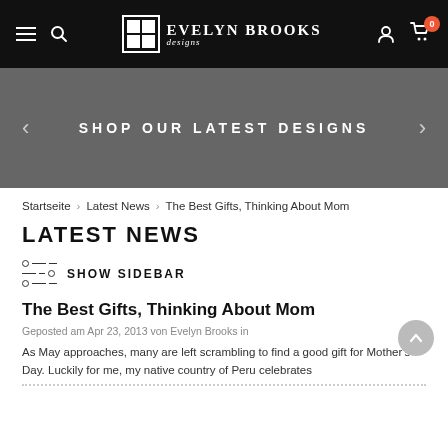Evelyn Brooks Designs — navigation bar with hamburger menu, search, logo, user icon, cart (0)
[Figure (screenshot): Hero banner with dark gray background showing text SHOP OUR LATEST DESIGNS with left and right arrows]
Startseite > Latest News > The Best Gifts, Thinking About Mom
LATEST NEWS
SHOW SIDEBAR
The Best Gifts, Thinking About Mom
Geposted am Apr 23, 2013 von Evelyn Brooks in
As May approaches, many are left scrambling to find a good gift for Mother's Day. Luckily for me, my native country of Peru celebrates